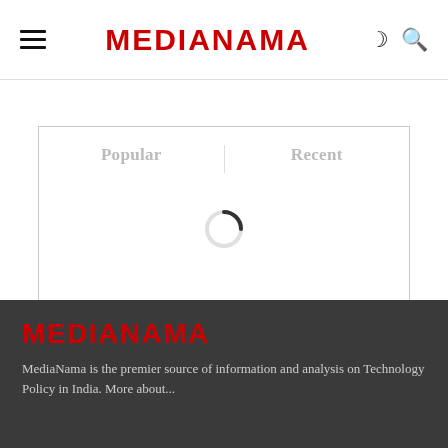MEDIANAMA
[Figure (screenshot): A widget box showing two tab labels: Popular and Recent, with a loading spinner in the center indicating content is loading]
MEDIANAMA
MediaNama is the premier source of information and analysis on Technology Policy in India. More about...